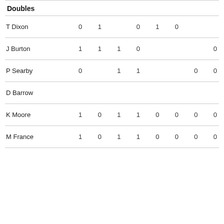| Doubles |  |  |  |  |  |  |  |  |
| --- | --- | --- | --- | --- | --- | --- | --- | --- |
| T Dixon | 0 | 1 |  | 0 | 1 | 0 |  |  |
| J Burton | 1 | 1 | 1 | 0 |  |  |  | 0 |
| P Searby | 0 |  | 1 | 1 |  | 0 | 0 |  |
| D Barrow |  |  |  |  |  |  |  |  |
| K Moore | 1 | 0 | 1 | 1 | 0 | 0 | 0 | 0 |
| M France | 1 | 0 | 1 | 1 | 0 | 0 | 0 | 0 |